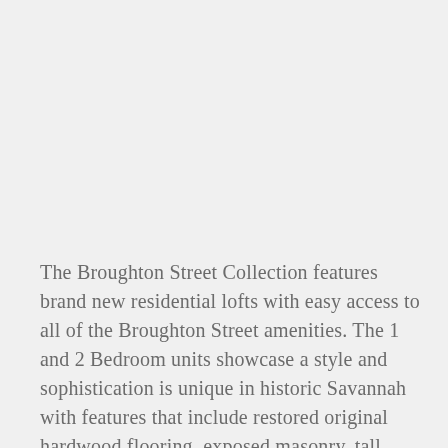The Broughton Street Collection features brand new residential lofts with easy access to all of the Broughton Street amenities. The 1 and 2 Bedroom units showcase a style and sophistication is unique in historic Savannah with features that include restored original hardwood flooring, exposed masonry, tall ceilings, and beautiful hardwood and stainless steel...